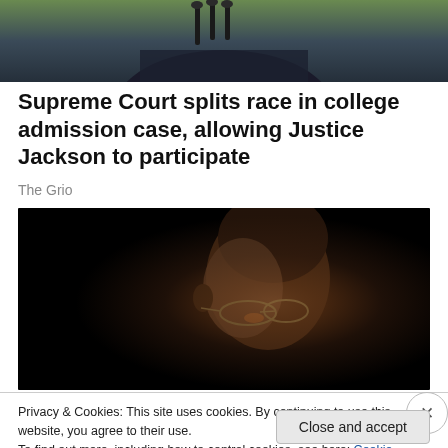[Figure (photo): Top portion of a photo showing a person at microphones, wearing a dark suit, cropped at the torso/shoulder level against a blurred green/dark background.]
Supreme Court splits race in college admission case, allowing Justice Jackson to participate
The Grio
[Figure (photo): Dark portrait photo of a bald Black man wearing glasses, photographed against a nearly black background with dramatic side lighting illuminating his face and glasses.]
Privacy & Cookies: This site uses cookies. By continuing to use this website, you agree to their use.
To find out more, including how to control cookies, see here: Cookie Policy
Close and accept